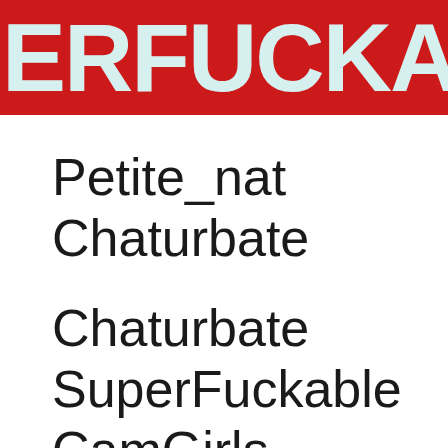ERFUCKA
Petite_nat
Chaturbate
Chaturbate
SuperFuckable
CamGirls